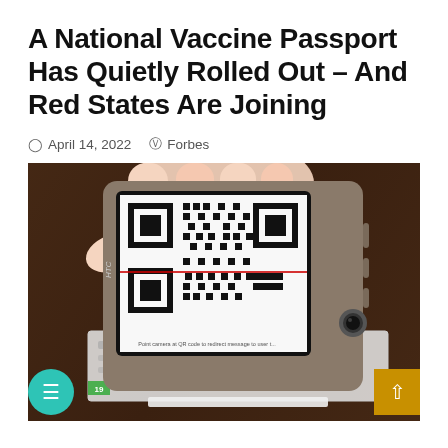A National Vaccine Passport Has Quietly Rolled Out – And Red States Are Joining
April 14, 2022   Forbes
[Figure (photo): A hand holding an HTC smartphone displaying a QR code on screen, placed over what appears to be a vaccination card on a wooden surface.]